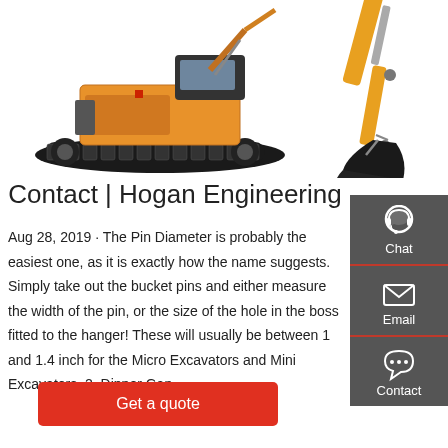[Figure (photo): Two excavators: a large tracked excavator on the left and a smaller excavator arm/bucket on the right, on a white background.]
Contact | Hogan Engineering
Aug 28, 2019 · The Pin Diameter is probably the easiest one, as it is exactly how the name suggests. Simply take out the bucket pins and either measure the width of the pin, or the size of the hole in the boss fitted to the hanger! These will usually be between 1 and 1.4 inch for the Micro Excavators and Mini Excavators. 2. Dipper Gap.
[Figure (infographic): Right sidebar with dark grey background containing three icons: Chat (headset), Email (envelope), and Contact (speech bubble with dots), each separated by red lines.]
Get a quote